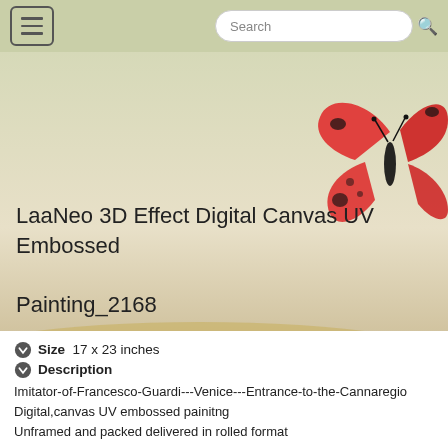Search
[Figure (photo): Product listing page screenshot showing a decorative canvas painting with a butterfly illustration on a beige/tan landscape background. A red butterfly with black markings is visible in the upper right of the image.]
LaaNeo 3D Effect Digital Canvas UV Embossed Painting_2168
Size  17 x 23 inches
Description
Imitator-of-Francesco-Guardi---Venice---Entrance-to-the-Cannaregio
Digital,canvas UV embossed painitng
Unframed and packed delivered in rolled format